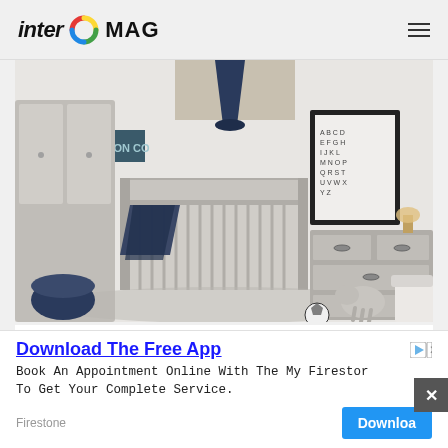inter MAG
[Figure (photo): A stylish baby nursery room featuring a gray wood crib with navy blue blanket draped over it, a dark navy pendant lamp hanging from the ceiling, a vintage 'Transportation Co.' sign on the wall, a framed alphabet print, a gray dresser with oval handles, a white upholstered chair, small elephant toy and soccer ball on a gray rug, and tall white wardrobe cabinet in the background.]
15 |
Download The Free App
Book An Appointment Online With The My Firesto To Get Your Complete Service.
Firestone
Download